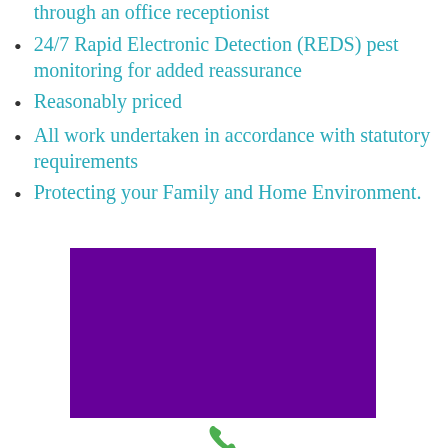through an office receptionist
24/7 Rapid Electronic Detection (REDS) pest monitoring for added reassurance
Reasonably priced
All work undertaken in accordance with statutory requirements
Protecting your Family and Home Environment.
[Figure (photo): Purple/violet solid color rectangle block, likely a video or image placeholder]
[Figure (other): Green phone icon with label 'Phone' below it]